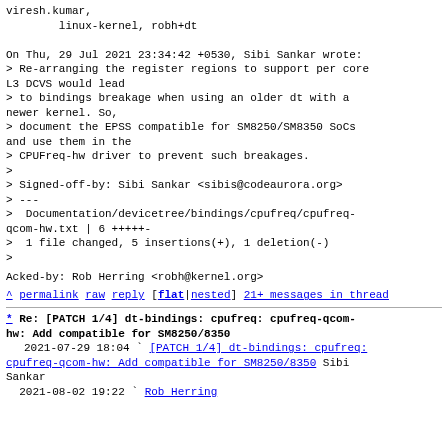viresh.kumar,
        linux-kernel, robh+dt
On Thu, 29 Jul 2021 23:34:42 +0530, Sibi Sankar wrote:
> Re-arranging the register regions to support per core
L3 DCVS would lead
> to bindings breakage when using an older dt with a
newer kernel. So,
> document the EPSS compatible for SM8250/SM8350 SoCs
and use them in the
> CPUFreq-hw driver to prevent such breakages.
>
> Signed-off-by: Sibi Sankar <sibis@codeaurora.org>
> ---
>  Documentation/devicetree/bindings/cpufreq/cpufreq-
qcom-hw.txt | 6 +++++-
>  1 file changed, 5 insertions(+), 1 deletion(-)
>
Acked-by: Rob Herring <robh@kernel.org>
^ permalink raw reply   [flat|nested] 21+ messages in thread
* Re: [PATCH 1/4] dt-bindings: cpufreq: cpufreq-qcom-hw: Add compatible for SM8250/8350
  2021-07-29 18:04 ` [PATCH 1/4] dt-bindings: cpufreq: cpufreq-qcom-hw: Add compatible for SM8250/8350 Sibi Sankar
  2021-08-02 19:22   ` Rob Herring